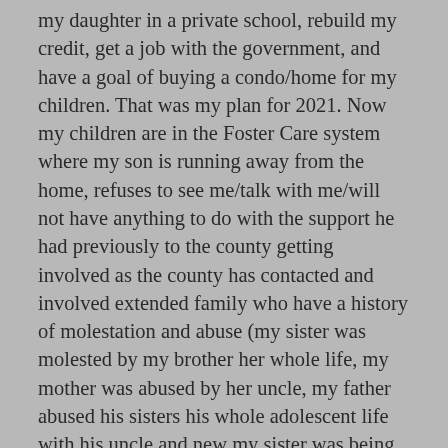my daughter in a private school, rebuild my credit, get a job with the government, and have a goal of buying a condo/home for my children. That was my plan for 2021. Now my children are in the Foster Care system where my son is running away from the home, refuses to see me/talk with me/will not have anything to do with the support he had previously to the county getting involved as the county has contacted and involved extended family who have a history of molestation and abuse (my sister was molested by my brother her whole life, my mother was abused by her uncle, my father abused his sisters his whole adolescent life with his uncle and new my sister was being abused, but refused to do anything about it and as an adult stated they did not want to destroy his reputation/nor upset his relationship with them) and my own family did not support me going back to school, leaving my ex-husband, nor getting out of the toxic family